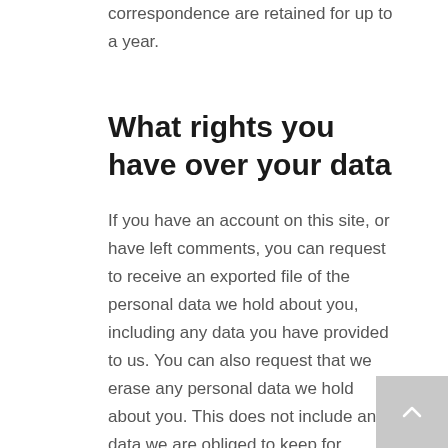correspondence are retained for up to a year.
What rights you have over your data
If you have an account on this site, or have left comments, you can request to receive an exported file of the personal data we hold about you, including any data you have provided to us. You can also request that we erase any personal data we hold about you. This does not include any data we are obliged to keep for administrative, legal, or